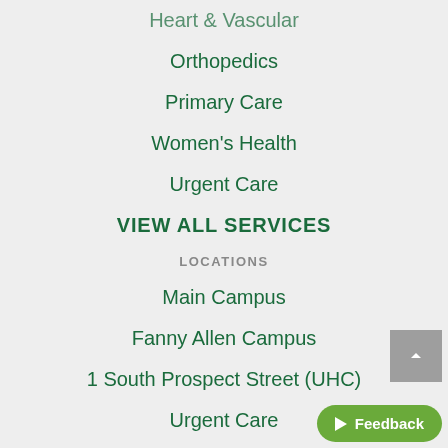Heart & Vascular
Orthopedics
Primary Care
Women's Health
Urgent Care
VIEW ALL SERVICES
LOCATIONS
Main Campus
Fanny Allen Campus
1 South Prospect Street (UHC)
Urgent Care
VIEW ALL LOCATIONS